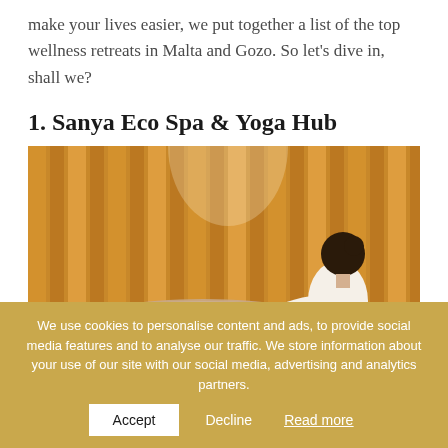make your lives easier, we put together a list of the top wellness retreats in Malta and Gozo. So let’s dive in, shall we?
1. Sanya Eco Spa & Yoga Hub
[Figure (photo): A spa therapist performing a back massage on a client lying on a massage table, with warm bamboo-lit background creating a serene atmosphere.]
We use cookies to personalise content and ads, to provide social media features and to analyse our traffic. We store information about your use of our site with our social media, advertising and analytics partners.